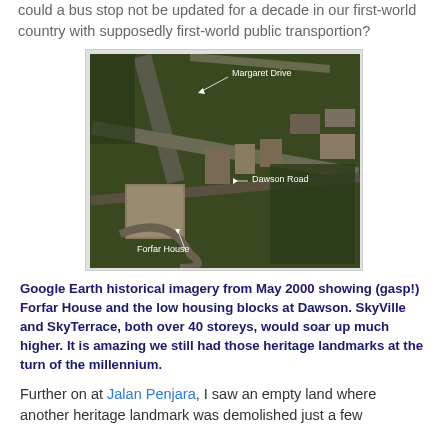could a bus stop not be updated for a decade in our first-world country with supposedly first-world public transportion?
[Figure (photo): Google Earth satellite aerial imagery from May 2000 showing Margaret Drive and Dawson Road area with Forfar House and low housing blocks at Dawson.]
Google Earth historical imagery from May 2000 showing (gasp!) Forfar House and the low housing blocks at Dawson. SkyVille and SkyTerrace, both over 40 storeys, would soar up much higher. It is amazing we still had those heritage landmarks at the turn of the millennium.
Further on at Jalan Penjara, I saw an empty land where another heritage landmark was demolished just a few